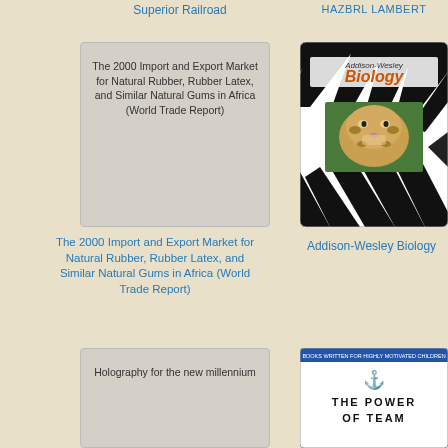Superior Railroad
HAZBRL LAMBERT
[Figure (illustration): Book cover placeholder for 'The 2000 Import and Export Market for Natural Rubber, Rubber Latex, and Similar Natural Gums in Africa (World Trade Report)' - gray background with text]
[Figure (illustration): Book cover for Addison-Wesley Biology - zebra stripe pattern with leopard photo inset]
The 2000 Import and Export Market for Natural Rubber, Rubber Latex, and Similar Natural Gums in Africa (World Trade Report)
Addison-Wesley Biology
[Figure (illustration): Book cover placeholder for 'Holography for the new millennium' - gray background with text]
[Figure (illustration): Book cover for 'The Power of Team' - white background with dark text and anchor icon]